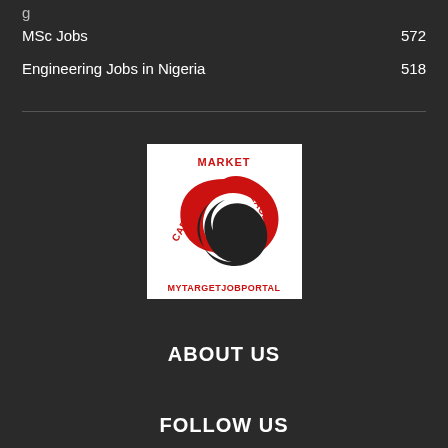MSc Jobs 572
Engineering Jobs in Nigeria 518
[Figure (logo): MyTargetJobPortal logo — white background with red and black swirl/G shape and text: MARKET PLACE CAREER MYTARGETJOBPORTAL]
ABOUT US
FOLLOW US